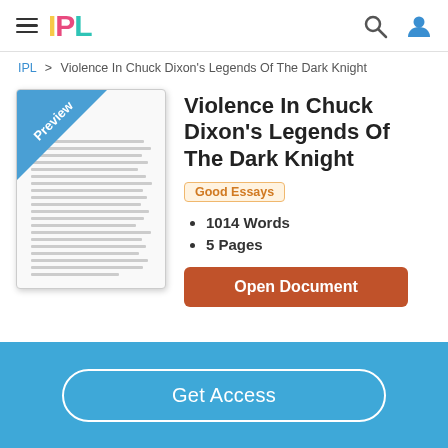IPL
IPL > Violence In Chuck Dixon's Legends Of The Dark Knight
[Figure (illustration): Preview thumbnail of a document page with a blue diagonal 'Preview' badge in the top-left corner and horizontal lines representing text content]
Violence In Chuck Dixon's Legends Of The Dark Knight
Good Essays
1014 Words
5 Pages
Open Document
Get Access